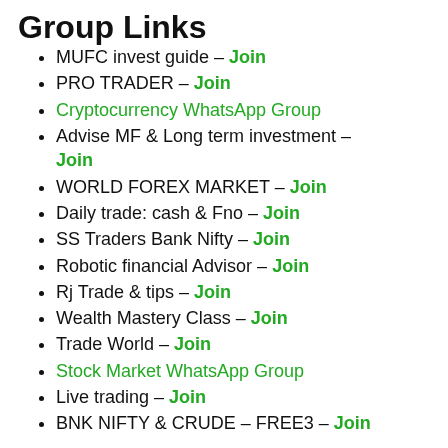Group Links
MUFC invest guide – Join
PRO TRADER – Join
Cryptocurrency WhatsApp Group
Advise MF & Long term investment – Join
WORLD FOREX MARKET – Join
Daily trade: cash & Fno – Join
SS Traders Bank Nifty – Join
Robotic financial Advisor – Join
Rj Trade & tips – Join
Wealth Mastery Class – Join
Trade World – Join
Stock Market WhatsApp Group
Live trading – Join
BNK NIFTY & CRUDE – FREE3 – Join